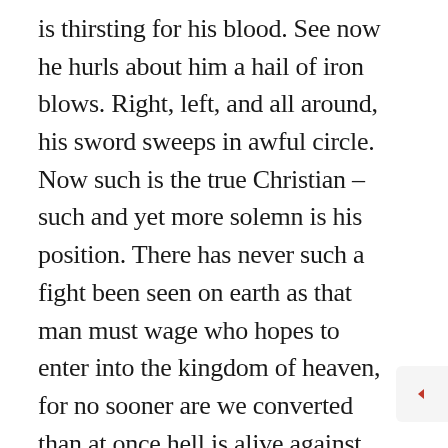is thirsting for his blood. See now he hurls about him a hail of iron blows. Right, left, and all around, his sword sweeps in awful circle. Now such is the true Christian – such and yet more solemn is his position. There has never such a fight been seen on earth as that man must wage who hopes to enter into the kingdom of heaven, for no sooner are we converted than at once hell is alive against us, and earth is on fire with anger, and we have both earth and hell to dispute our salvation. Young Christian, dost thou tremble? Let me do with thee as